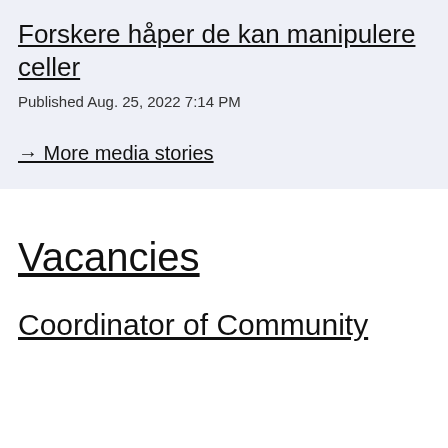Forskere håper de kan manipulere celler
Published Aug. 25, 2022 7:14 PM
→ More media stories
Vacancies
Coordinator of Community